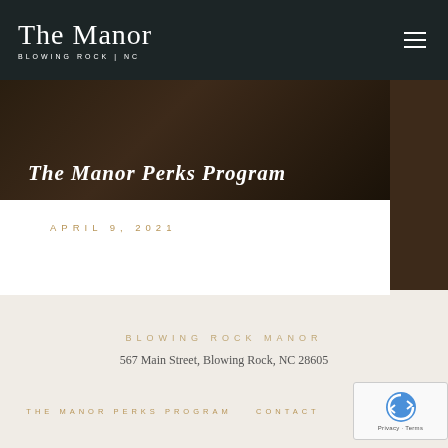The Manor BLOWING ROCK | NC
[Figure (screenshot): Dark banner image with text 'The Manor Perks Program' overlaid in white italic serif font]
APRIL 9, 2021
BLOWING ROCK MANOR
567 Main Street, Blowing Rock, NC 28605
THE MANOR PERKS PROGRAM   CONTACT